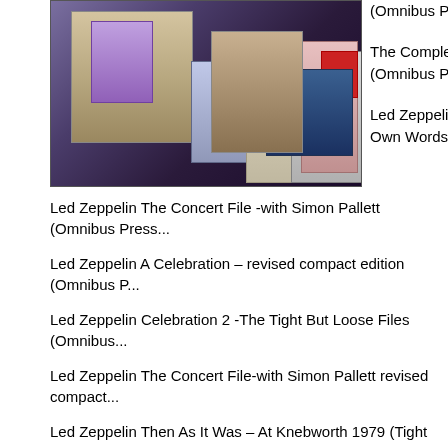[Figure (photo): Collection of Led Zeppelin books including The Concert File, A Celebration, and other titles spread out on a surface]
(Omnibus Press 199...
The Complete Guide (Omnibus Press 199...
Led Zeppelin -Talkin... Own Words book (O...
Led Zeppelin The Concert File -with Simon Pallett (Omnibus Press...
Led Zeppelin A Celebration – revised compact edition (Omnibus P...
Led Zeppelin Celebration 2  -The Tight But Loose Files (Omnibus...
Led Zeppelin The Concert File-with Simon Pallett revised compact...
Led Zeppelin Then As It Was – At Knebworth 1979 (Tight But Loos...
Led Zeppelin Feather In The Wind – Over Europe 1980 (Tight But...